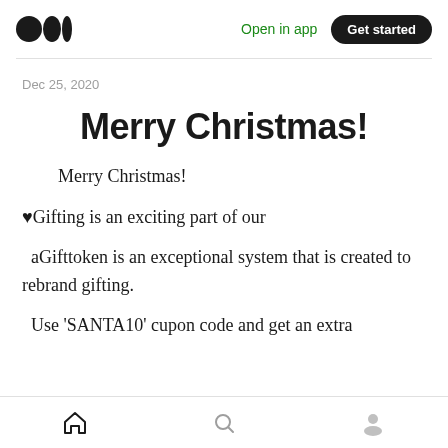Medium logo | Open in app | Get started
Dec 25, 2020
Merry Christmas!
Merry Christmas!
♥Gifting is an exciting part of our
aGifttoken is an exceptional system that is created to rebrand gifting.
Use 'SANTA10' cupon code and get an extra
Home | Search | Profile